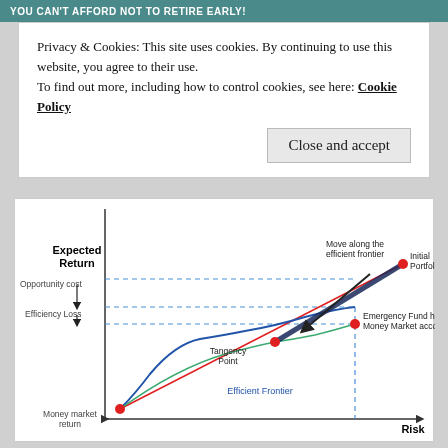YOU CAN'T AFFORD NOT TO RETIRE EARLY!
Privacy & Cookies: This site uses cookies. By continuing to use this website, you agree to their use.
To find out more, including how to control cookies, see here: Cookie Policy
Close and accept
[Figure (continuous-plot): Efficient frontier diagram showing Expected Return (y-axis) vs Risk (x-axis). A curved blue efficient frontier line rises from lower left. A red straight capital market line passes through a 'Money market return' point at lower left and an 'Initial Portfolio' point at upper right. Key labeled points: Tangency Point (where frontier meets capital market line), Initial Portfolio (upper right, red dot), Emergency Fund held in Money Market account (middle right, red dot). Dashed horizontal lines show 'Opportunity cost' and 'Efficiency Loss' gaps. 'Move along the efficient frontier' arrow points from Initial Portfolio downward. A thick dark arrow shows movement along the frontier.]